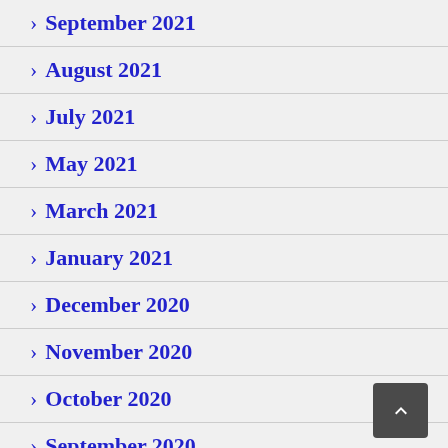> September 2021
> August 2021
> July 2021
> May 2021
> March 2021
> January 2021
> December 2020
> November 2020
> October 2020
> September 2020